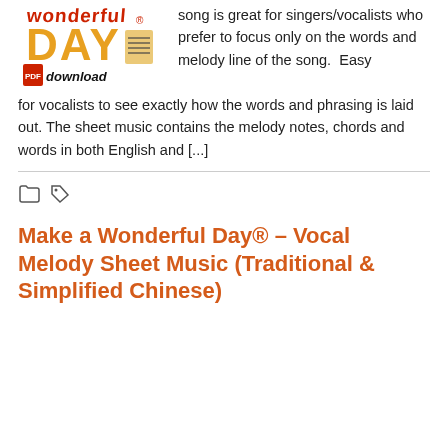[Figure (logo): Make a Wonderful Day logo with colorful lettering and PDF download icon]
song is great for singers/vocalists who prefer to focus only on the words and melody line of the song.  Easy for vocalists to see exactly how the words and phrasing is laid out. The sheet music contains the melody notes, chords and words in both English and [...]
[Figure (other): Folder and tag icons]
Make a Wonderful Day® – Vocal Melody Sheet Music (Traditional & Simplified Chinese)